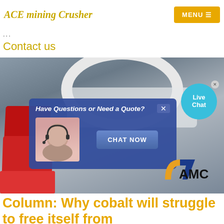ACE mining Crusher | MENU
automobiles, mobile phones and laptop computers.
Demand for cobalt is expected to rise significantly…
...
Contact us
[Figure (photo): Industrial mining crusher machine (cone crusher) with red bins on left side, an overlay chat popup saying 'Have Questions or Need a Quote?' with a chat agent photo and 'CHAT NOW' button, a live chat bubble on the right, and AMC logo at bottom right]
Column: Why cobalt will struggle to free itself from